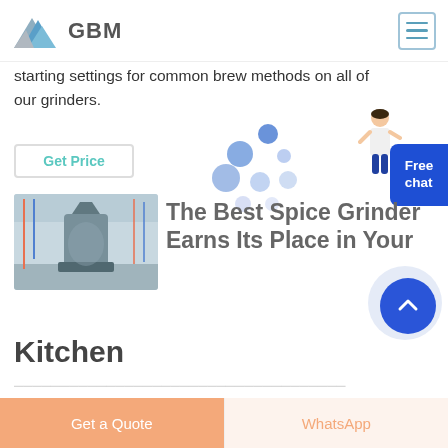GBM
starting settings for common brew methods on all of our grinders.
Get Price
[Figure (photo): Industrial grinder machine in a factory setting]
[Figure (illustration): Decorative floating dots/bubbles animation graphic]
The Best Spice Grinder Earns Its Place in Your Kitchen
[Figure (illustration): Free chat button with female avatar figure]
[Figure (illustration): Scroll to top circular button with upward chevron]
Get a Quote
WhatsApp